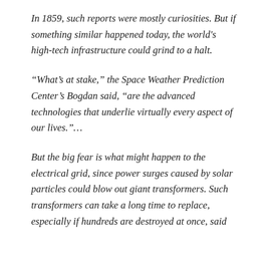In 1859, such reports were mostly curiosities. But if something similar happened today, the world's high-tech infrastructure could grind to a halt.
“What’s at stake,” the Space Weather Prediction Center’s Bogdan said, “are the advanced technologies that underlie virtually every aspect of our lives.”…
But the big fear is what might happen to the electrical grid, since power surges caused by solar particles could blow out giant transformers. Such transformers can take a long time to replace, especially if hundreds are destroyed at once, said